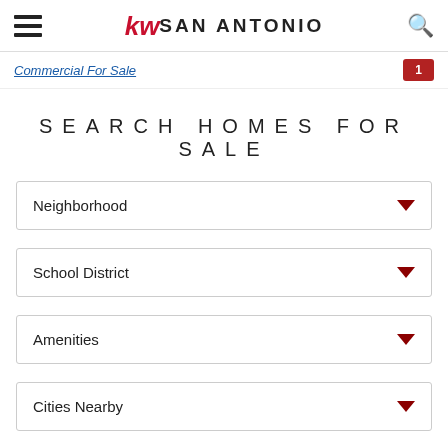kw SAN ANTONIO
Commercial For Sale
SEARCH HOMES FOR SALE
Neighborhood
School District
Amenities
Cities Nearby